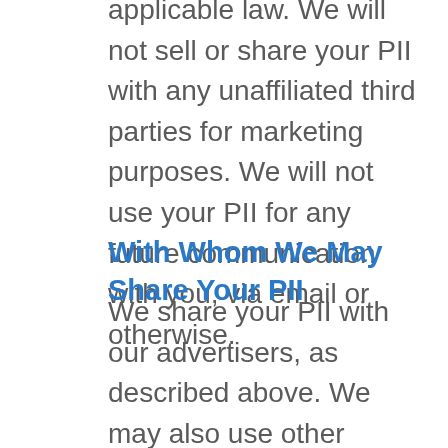applicable law. We will not sell or share your PII with any unaffiliated third parties for marketing purposes. We will not use your PII for any future communication with you, via email or otherwise.
With Whom We May Share Your PII
We share your PII with our advertisers, as described above. We may also use other businesses to perform certain services for us, and PII may be provided to those businesses when that information is necessary for them to complete a requested transaction or otherwise perform their duties. We will take reasonable steps to ensure that these third party service providers are obligated to protect PII on our behalf. Except as described in this policy, we will not share the content of the emails or the phone conversations with anyone other than the advertiser.